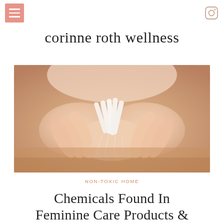corinne roth wellness
[Figure (photo): Close-up photo of a person's cupped hands holding several tampons with strings hanging down, blurred warm-toned background]
NON-TOXIC HOME
Chemicals Found In Feminine Care Products &